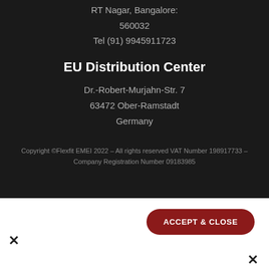RT Nagar, Bangalore:
560032
Tel (91) 9945911723
EU Distribution Center
Dr.-Robert-Murjahn-Str. 7
63472 Ober-Ramstadt
Germany
Copyright ©Flexfit EMEI 2022 – All rights reserved VAT Number 198917733 – Company Registration Number 09183985
ACCEPT & CLOSE